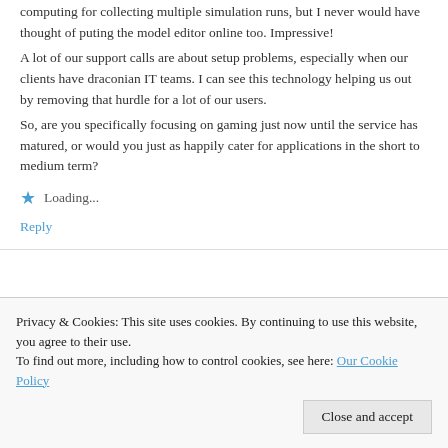computing for collecting multiple simulation runs, but I never would have thought of puting the model editor online too. Impressive!
A lot of our support calls are about setup problems, especially when our clients have draconian IT teams. I can see this technology helping us out by removing that hurdle for a lot of our users.
So, are you specifically focusing on gaming just now until the service has matured, or would you just as happily cater for applications in the short to medium term?
★ Loading...
Reply
Privacy & Cookies: This site uses cookies. By continuing to use this website, you agree to their use.
To find out more, including how to control cookies, see here: Our Cookie Policy
Close and accept
game on the server?